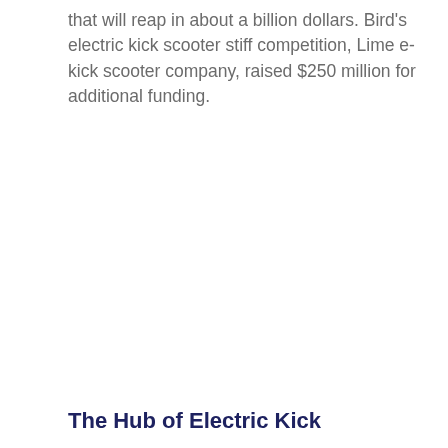that will reap in about a billion dollars. Bird's electric kick scooter stiff competition, Lime e-kick scooter company, raised $250 million for additional funding.
The Hub of Electric Kick